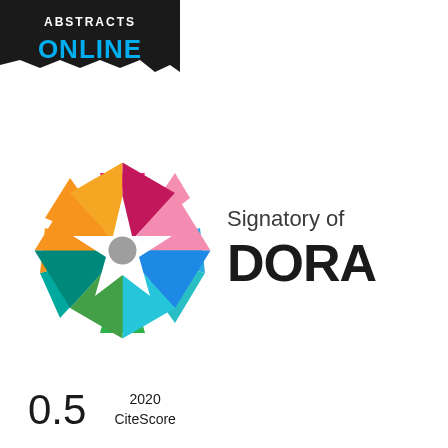[Figure (logo): Abstracts Online logo — black banner with white text 'ABSTRACTS' above and teal/cyan bold text 'ONLINE' below]
[Figure (logo): DORA (Declaration on Research Assessment) signatory badge — colorful circular star/snowflake logo on left with text 'Signatory of DORA' on right in dark gray]
0.5
2020 CiteScore